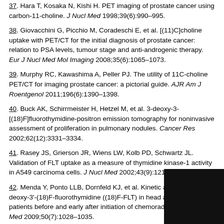37. Hara T, Kosaka N, Kishi H. PET imaging of prostate cancer using carbon-11-choline. J Nucl Med 1998;39(6):990–995.
38. Giovacchini G, Picchio M, Coradeschi E, et al. [(11)C]choline uptake with PET/CT for the initial diagnosis of prostate cancer: relation to PSA levels, tumour stage and anti-androgenic therapy. Eur J Nucl Med Mol Imaging 2008;35(6):1065–1073.
39. Murphy RC, Kawashima A, Peller PJ. The utility of 11C-choline PET/CT for imaging prostate cancer: a pictorial guide. AJR Am J Roentgenol 2011;196(6):1390–1398.
40. Buck AK, Schirrmeister H, Hetzel M, et al. 3-deoxy-3-[(18)F]fluorothymidine-positron emission tomography for noninvasive assessment of proliferation in pulmonary nodules. Cancer Res 2002;62(12):3331–3334.
41. Rasey JS, Grierson JR, Wiens LW, Kolb PD, Schwartz JL. Validation of FLT uptake as a measure of thymidine kinase-1 activity in A549 carcinoma cells. J Nucl Med 2002;43(9):1210–1217.
42. Menda Y, Ponto LLB, Dornfeld KJ, et al. Kinetic analysis of 3'-deoxy-3'-(18)F-fluorothymidine ((18)F-FLT) in head and neck patients before and early after initiation of chemoradiation the... J Nucl Med 2009;50(7):1028–1035.